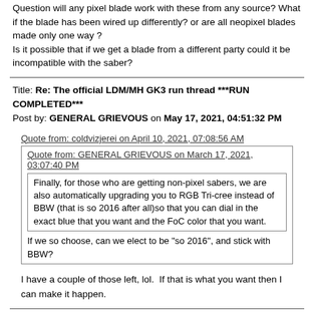Question will any pixel blade work with these from any source? What if the blade has been wired up differently? or are all neopixel blades made only one way ? Is it possible that if we get a blade from a different party could it be incompatible with the saber?
Title: Re: The official LDM/MH GK3 run thread ***RUN COMPLETED***
Post by: GENERAL GRIEVOUS on May 17, 2021, 04:51:32 PM
Quote from: coldvizjerei on April 10, 2021, 07:08:56 AM
Quote from: GENERAL GRIEVOUS on March 17, 2021, 03:07:40 PM
Finally, for those who are getting non-pixel sabers, we are also automatically upgrading you to RGB Tri-cree instead of BBW (that is so 2016 after all)so that you can dial in the exact blue that you want and the FoC color that you want.
If we so choose, can we elect to be "so 2016", and stick with BBW?
I have a couple of those left, lol.  If that is what you want then I can make it happen.
Title: Re: The official LDM/MH GK3 run thread ***RUN COMPLETED***
Post by: GENERAL GRIEVOUS on May 17, 2021, 04:56:20 PM
I do have an update and it isn't good.  I am not certain if anyone knows about the global component shortage?